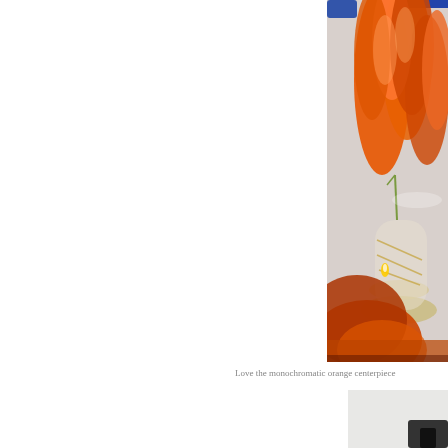[Figure (photo): Close-up photo of a table setting with orange flowers in a glass vase and an orange candle in the foreground, on a white tablecloth. Blue accents visible at top.]
Love the monochromatic orange centerpiece
[Figure (photo): Partial photo showing a light gray/white background with a dark object at the bottom right, partially cropped.]